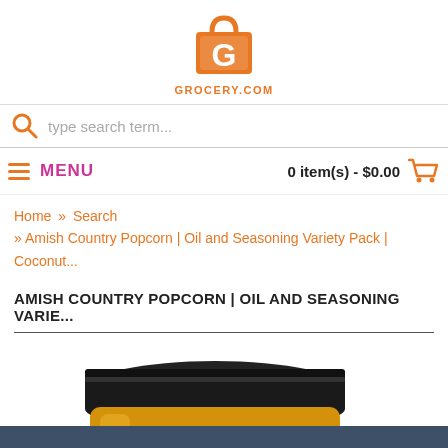[Figure (logo): Grocery.com logo: orange shopping bag with letter G, text GROCERY.COM below]
type search term...
MENU   0 item(s) - $0.00
Home » Search » Amish Country Popcorn | Oil and Seasoning Variety Pack | Coconut...
AMISH COUNTRY POPCORN | OIL AND SEASONING VARIE...
[Figure (photo): Close-up of a jar of golden/yellow oil with a black screw-top lid, on white background]
[Figure (other): Orange house/home icon button in lower right corner]